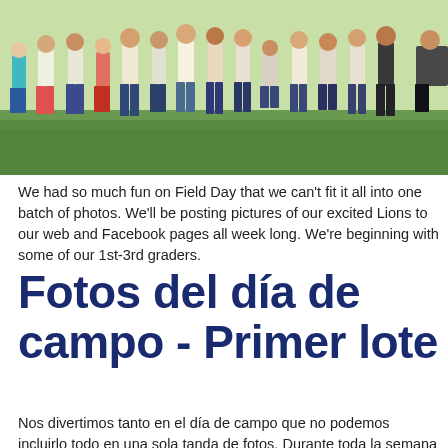[Figure (photo): Children standing on a grassy field on Field Day, photographed outdoors in sunlight]
We had so much fun on Field Day that we can't fit it all into one batch of photos.  We'll be posting pictures of our excited Lions to our web and Facebook pages all week long.  We're beginning with some of our 1st-3rd graders.
Fotos del día de campo - Primer lote
Nos divertimos tanto en el día de campo que no podemos incluirlo todo en una sola tanda de fotos. Durante toda la semana publicaromos fotos de nuestros emocionados